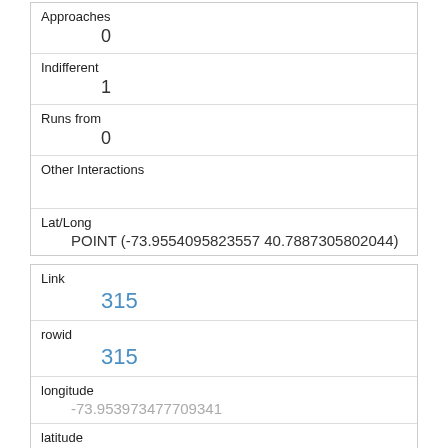| Approaches | 0 |
| Indifferent | 1 |
| Runs from | 0 |
| Other Interactions |  |
| Lat/Long | POINT (-73.9554095823557 40.7887305802044) |
| Link | 315 |
| rowid | 315 |
| longitude | -73.953973477099341 |
| latitude | 40.7956055442 |
| Unique Squirrel ID |  |